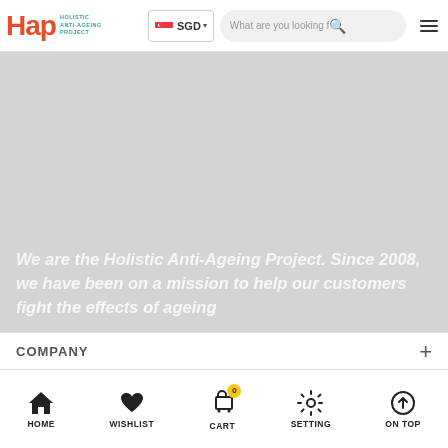[Figure (screenshot): HAP (Holistic Anti-Ageing Project) website header with logo, SGD currency selector, search bar, and hamburger menu]
[Figure (photo): Light grey hero banner area with anti-ageing brand promotional content]
We are the Holistic Anti-Ageing Project. Since 2008, we have been on a mission to help our customers fight the effects of ageing
COMPANY
HOME  WISHLIST  CART  SETTING  ON TOP